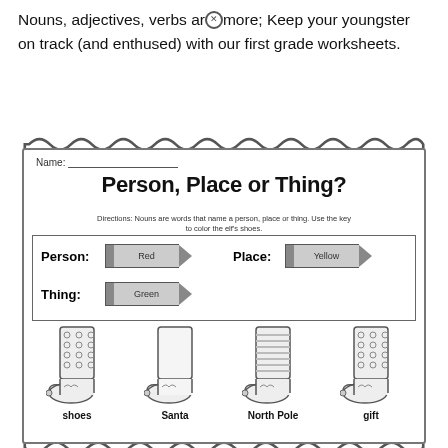Nouns, adjectives, verbs and more; Keep your youngster on track (and enthused) with our first grade worksheets.
[Figure (illustration): Elementary school worksheet titled 'Person, Place or Thing?' showing an elf shoes coloring activity with a color key (Person=Red, Place=Yellow, Thing=Green) and four elf shoe illustrations labeled shoes, Santa, North Pole, gift, with more shoes at the bottom.]